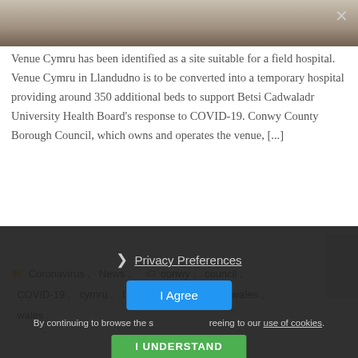[Figure (photo): Partial photo of outdoor scene (top strip)]
Venue Cymru has been identified as a site suitable for a field hospital. Venue Cymru in Llandudno is to be converted into a temporary hospital providing around 350 additional beds to support Betsi Cadwaladr University Health Board's response to COVID-19. Conwy County Borough Council, which owns and operates the venue, [...]
Coronavirus, News, conwy, council, COVID-19, cymru, IT, llandudno, north wales, wales,
Privacy Preferences
By continuing to browse the site you are agreeing to our use of cookies.
I Agree
I UNDERSTAND